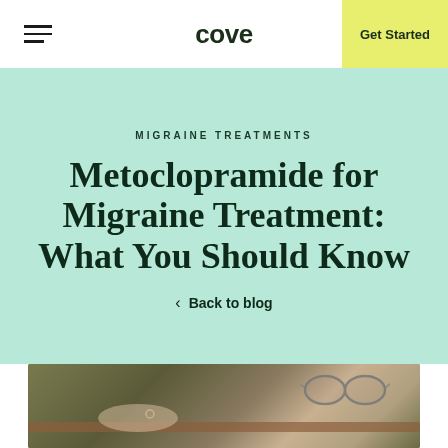cove | Get Started
MIGRAINE TREATMENTS
Metoclopramide for Migraine Treatment: What You Should Know
< Back to blog
[Figure (photo): Close-up photo of a person's hand with a ring resting on an olive/khaki jacket, with eyeglasses visible in the upper right corner]